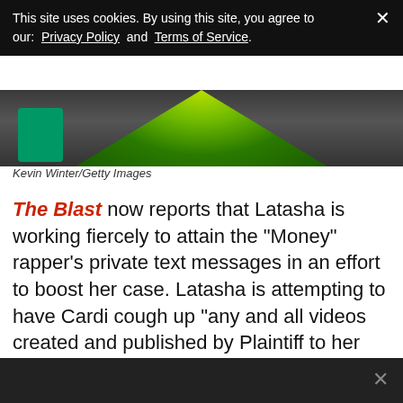This site uses cookies. By using this site, you agree to our: Privacy Policy and Terms of Service.
[Figure (photo): Photo strip showing green foliage/costume against dark background]
Kevin Winter/Getty Images
The Blast now reports that Latasha is working fiercely to attain the "Money" rapper's private text messages in an effort to boost her case. Latasha is attempting to have Cardi cough up “any and all videos created and published by Plaintiff to her social media accounts, regarding Kebe”, “any and all written posts published by plaintiff to her social media posts”, “all direct and/or private messages between Plaintiff and Kebe on various social media